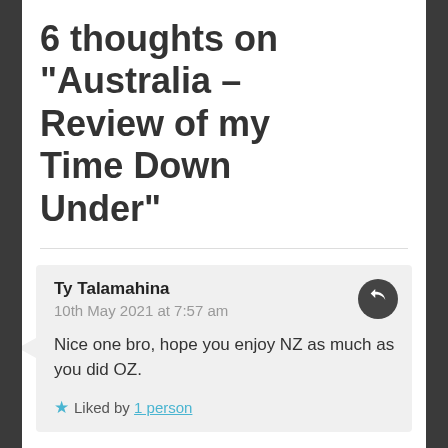6 thoughts on “Australia – Review of my Time Down Under”
Ty Talamahina
10th May 2021 at 7:57 am

Nice one bro, hope you enjoy NZ as much as you did OZ.

★ Liked by 1 person